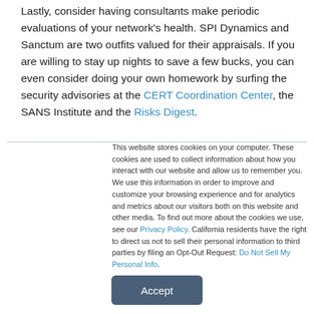Lastly, consider having consultants make periodic evaluations of your network's health. SPI Dynamics and Sanctum are two outfits valued for their appraisals. If you are willing to stay up nights to save a few bucks, you can even consider doing your own homework by surfing the security advisories at the CERT Coordination Center, the SANS Institute and the Risks Digest.
This website stores cookies on your computer. These cookies are used to collect information about how you interact with our website and allow us to remember you. We use this information in order to improve and customize your browsing experience and for analytics and metrics about our visitors both on this website and other media. To find out more about the cookies we use, see our Privacy Policy. California residents have the right to direct us not to sell their personal information to third parties by filing an Opt-Out Request: Do Not Sell My Personal Info.